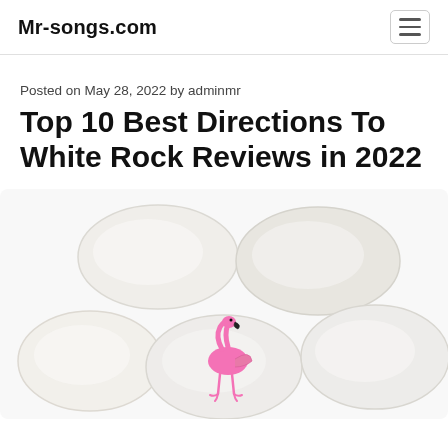Mr-songs.com
Posted on May 28, 2022 by adminmr
Top 10 Best Directions To White Rock Reviews in 2022
[Figure (photo): Photo of five white river rocks arranged in two rows, one of which has a pink flamingo painted on it]